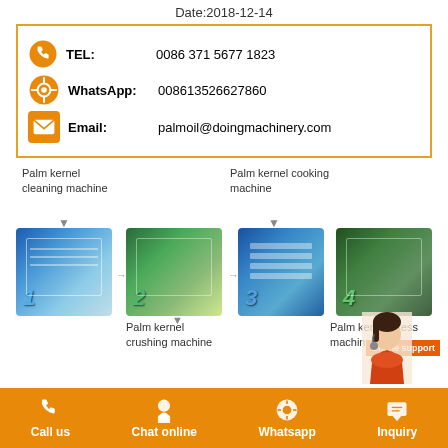Date:2018-12-14
TEL: 0086 371 5677 1823
WhatsApp: 008613526627860
Email: palmoil@doingmachinery.com
[Figure (infographic): Four palm kernel processing machines shown in sequence: 1. Palm kernel cleaning machine, 2. Palm kernel crushing machine, 3. Palm kernel cooking machine, 4. Palm kernel press machine. An online support avatar is shown in the bottom right corner.]
Call us   Chat online   Whatsapp   Inquiry